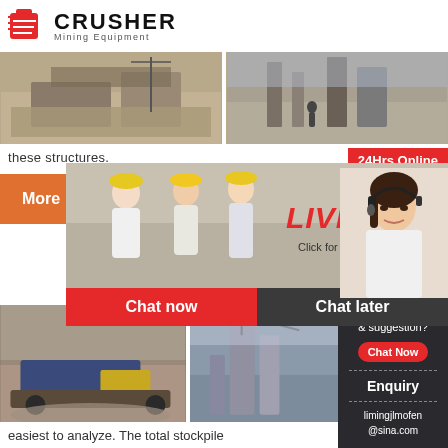[Figure (logo): Crusher Mining Equipment logo with red shopping bag icon and bold text]
[Figure (photo): Two mining/quarry site photographs side by side]
these structures.
[Figure (infographic): Live Chat popup overlay with workers in hard hats, LIVE CHAT title in red italic, 'Click for a Free Consultation', Chat now and Chat later buttons]
[Figure (photo): 24Hrs Online badge in red]
[Figure (photo): More button in orange]
[Figure (photo): Two more mining site photographs side by side at the bottom]
[Figure (infographic): Right sidebar with Need questions & suggestion?, Chat Now button, dashed divider, Enquiry, limingjlmofen@sina.com]
easiest to analyze. The total stockpile